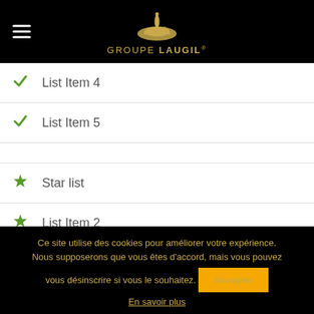Groupe Laugil
List Item 4
List Item 5
Star list
List Item 2
List item 3
Ce site utilise des cookies pour améliorer votre expérience. Nous supposerons que vous êtes d'accord, mais vous pouvez vous désinscrire si vous le souhaitez.
Accepter
En savoir plus